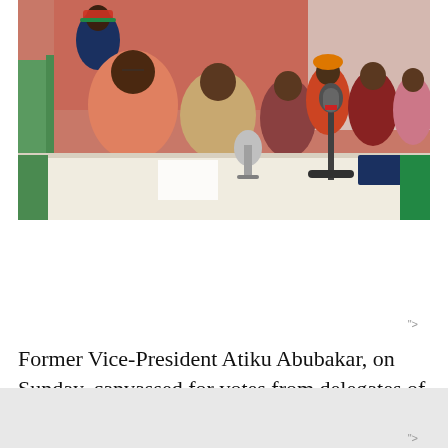[Figure (photo): Group of people seated at a table with microphones, in a room with terracotta-colored walls. A man in a salmon/pink traditional outfit appears to be speaking. Several other people are seated around the table. Indoor press conference or meeting setting.]
7.6k SHARES
Former Vice-President Atiku Abubakar, on Sunday, canvassed for votes from delegates of the Peoples